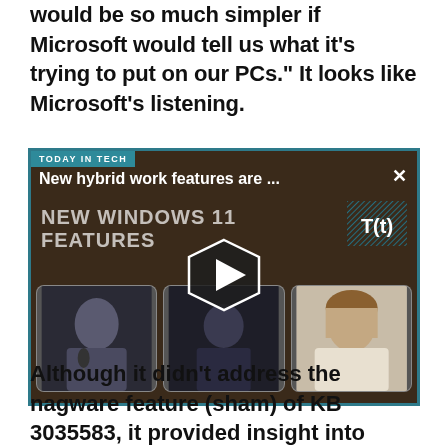would be so much simpler if Microsoft would tell us what it's trying to put on our PCs." It looks like Microsoft's listening.
[Figure (screenshot): Video thumbnail for 'New hybrid work features are ...' from Today in Tech series, showing NEW WINDOWS 11 FEATURES with three people visible in panel thumbnails and a play button in the center. TtT logo in top right corner.]
Although it didn't address the nagware feature (sham) of KB 3035583, it provided insight into